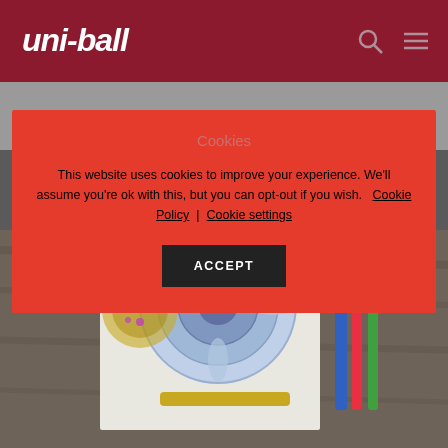uni-ball
[Figure (screenshot): Cookie consent modal overlay on uni-ball website. Red background modal with title 'Cookies', body text about cookie usage policy, links to Cookie Policy and Cookie settings, and an ACCEPT button. Background shows a photo of art supplies and decorative mandala artwork.]
Cookies
This website uses cookies to improve your experience. We'll assume you're ok with this, but you can opt-out if you wish. Cookie Policy | Cookie settings
ACCEPT